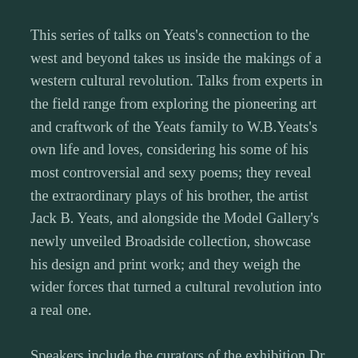This series of talks on Yeats's connection to the west and beyond takes us inside the makings of a western cultural revolution. Talks from experts in the field range from exploring the pioneering art and craftwork of the Yeats family to W.B.Yeats's own life and loves, considering his some of his most controversial and sexy poems; they reveal the extraordinary plays of his brother, the artist Jack B. Yeats, and alongside the Model Gallery's newly unveiled Broadside collection, showcase his design and print work; and they weigh the wider forces that turned a cultural revolution into a real one.
Speakers include the curators of the exhibition Dr Adrian Paterson and Barry Houlihan (NUI Galway), Professor Adrian Frazier (NUI Galway), Professor Margaret Mills Harper (University of Limerick and